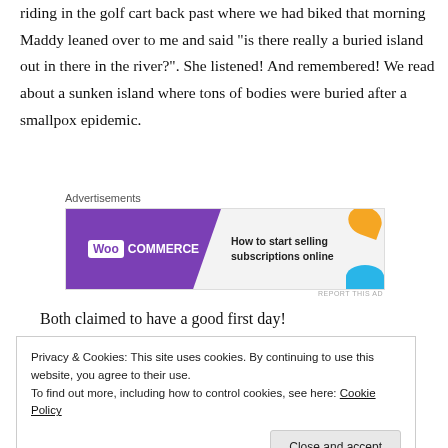riding in the golf cart back past where we had biked that morning Maddy leaned over to me and said “is there really a buried island out in there in the river?”.  She listened!  And remembered!  We read about a sunken island where tons of bodies were buried after a smallpox epidemic.
Advertisements
[Figure (screenshot): WooCommerce advertisement banner: purple background with WooCommerce logo on the left and text 'How to start selling subscriptions online' on the right with decorative shapes]
REPORT THIS AD
Both claimed to have a good first day!
Privacy & Cookies: This site uses cookies. By continuing to use this website, you agree to their use.
To find out more, including how to control cookies, see here: Cookie Policy
Close and accept